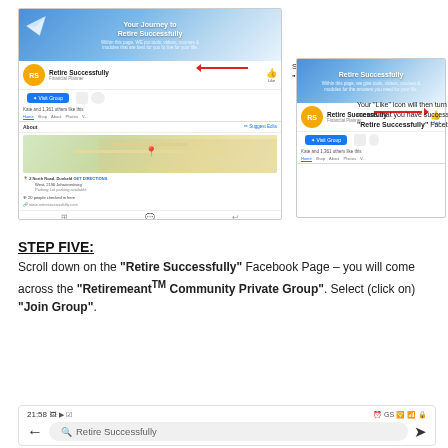[Figure (screenshot): Facebook 'Retire Successfully' page screenshot showing profile with Like button and map, with annotation arrow pointing to Like icon saying 'Select (click on) the "Like" icon to follow the "Retire Successfully" Facebook Page.']
[Figure (screenshot): Facebook 'Retire Successfully' page screenshot showing profile with blue Liked button, with annotation saying 'Your "Like" icon will then turn blue – this means that you have successfully liked the "Retire Successfully" Facebook Page.']
STEP FIVE:
Scroll down on the "Retire Successfully" Facebook Page – you will come across the "Retiremeant™ Community Private Group". Select (click on) "Join Group".
[Figure (screenshot): Mobile phone screenshot showing status bar with time 21:58 and search bar with 'Retire Successfully' text]